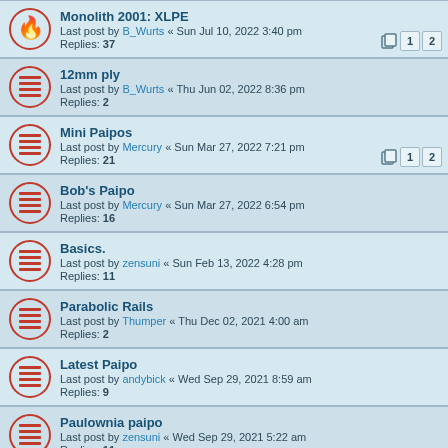Monolith 2001: XLPE — Last post by B_Wurts « Sun Jul 10, 2022 3:40 pm — Replies: 37
12mm ply — Last post by B_Wurts « Thu Jun 02, 2022 8:36 pm — Replies: 2
Mini Paipos — Last post by Mercury « Sun Mar 27, 2022 7:21 pm — Replies: 21
Bob's Paipo — Last post by Mercury « Sun Mar 27, 2022 6:54 pm — Replies: 16
Basics. — Last post by zensuni « Sun Feb 13, 2022 4:28 pm — Replies: 11
Parabolic Rails — Last post by Thumper « Thu Dec 02, 2021 4:00 am — Replies: 2
Latest Paipo — Last post by andybick « Wed Sep 29, 2021 8:59 am — Replies: 9
Paulownia paipo — Last post by zensuni « Wed Sep 29, 2021 5:22 am — Replies: 11
First Build — Last post by bgreen « Mon Sep 27, 2021 2:46 am — Replies: 12